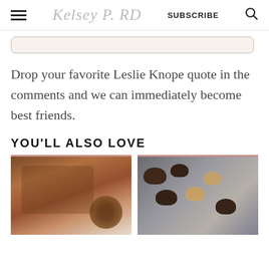Kelsey P. RD | SUBSCRIBE
Drop your favorite Leslie Knope quote in the comments and we can immediately become best friends.
YOU'LL ALSO LOVE
[Figure (photo): A white dish with chocolate mousse or pudding and a measuring spoon with cocoa powder beside it]
[Figure (photo): Chocolate-dipped orange segments and dates arranged on parchment paper]